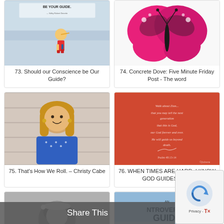[Figure (photo): Pinocchio cartoon image with 'Let your conscience be your guide' text]
73. Should our Conscience be Our Guide?
[Figure (photo): Pink and black butterfly on white background]
74. Concrete Dove: Five Minute Friday Post - The word
[Figure (photo): Woman with blonde hair smiling, wearing blue dress]
75. That's How We Roll. – Christy Cabe
[Figure (photo): Orange/red background with Psalm text quote about God guiding]
76. WHEN TIMES ARE HARD, I KNOW GOD GUIDES ME...
[Figure (photo): Black and white photo of woman]
[Figure (photo): An Introvert's Guide to Surviving the Summer book/article cover]
Share This